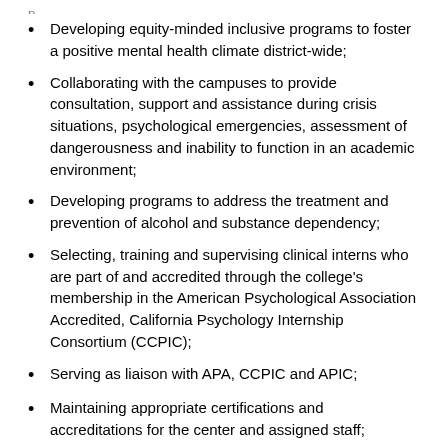Developing equity-minded inclusive programs to foster a positive mental health climate district-wide;
Collaborating with the campuses to provide consultation, support and assistance during crisis situations, psychological emergencies, assessment of dangerousness and inability to function in an academic environment;
Developing programs to address the treatment and prevention of alcohol and substance dependency;
Selecting, training and supervising clinical interns who are part of and accredited through the college's membership in the American Psychological Association Accredited, California Psychology Internship Consortium (CCPIC);
Serving as liaison with APA, CCPIC and APIC;
Maintaining appropriate certifications and accreditations for the center and assigned staff;
The day-to-day operation of Reedley College Psychological Services including coordination of